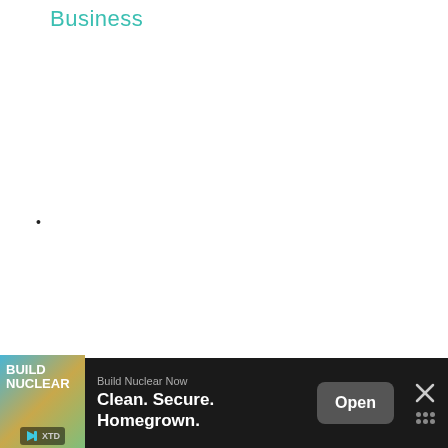Business
•
[Figure (screenshot): Mobile app advertisement banner at bottom of screen. Dark background bar containing: a colorful image with BUILD NUCLEAR text, 'Build Nuclear Now' header, 'Clean. Secure. Homegrown.' bold text, an 'Open' button, and a close X button with dots icon.]